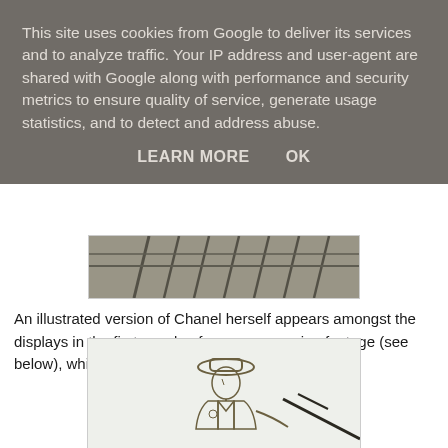This site uses cookies from Google to deliver its services and to analyze traffic. Your IP address and user-agent are shared with Google along with performance and security metrics to ensure quality of service, generate usage statistics, and to detect and address abuse.
LEARN MORE    OK
[Figure (photo): Partial view of black metal railings or display fixtures, dark and grey tones]
An illustrated version of Chanel herself appears amongst the displays in the first couple of rooms as moving footage (see below), which was quite charming.
[Figure (illustration): A line drawing illustration of Coco Chanel in a suit and hat, standing near a staircase railing]